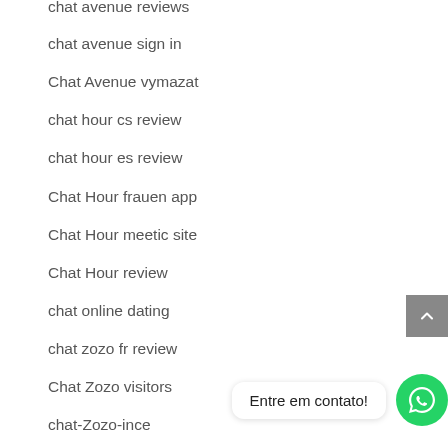chat avenue reviews
chat avenue sign in
Chat Avenue vymazat
chat hour cs review
chat hour es review
Chat Hour frauen app
Chat Hour meetic site
Chat Hour review
chat online dating
chat zozo fr review
Chat Zozo visitors
chat-Zozo-ince
chatango pl review
Entre em contato!